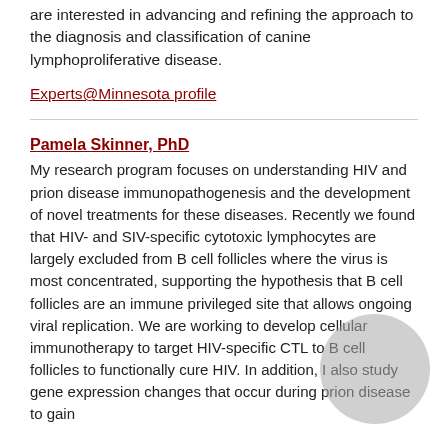are interested in advancing and refining the approach to the diagnosis and classification of canine lymphoproliferative disease.
Experts@Minnesota profile
Pamela Skinner, PhD
My research program focuses on understanding HIV and prion disease immunopathogenesis and the development of novel treatments for these diseases. Recently we found that HIV- and SIV-specific cytotoxic lymphocytes are largely excluded from B cell follicles where the virus is most concentrated, supporting the hypothesis that B cell follicles are an immune privileged site that allows ongoing viral replication. We are working to develop cellular immunotherapy to target HIV-specific CTL to B cell follicles to functionally cure HIV. In addition, I also study gene expression changes that occur during prion disease to gain